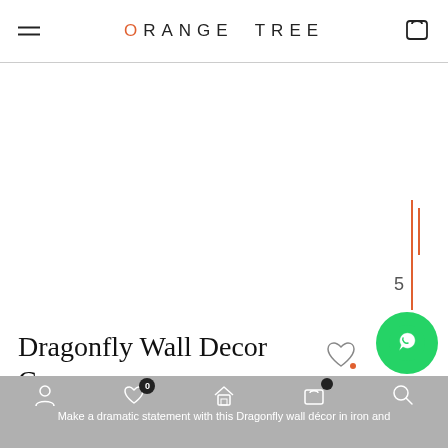ORANGE TREE
[Figure (other): Scroll position indicator on right side showing number 5 with orange vertical bar]
Dragonfly Wall Decor Copper
₹2,499
[Figure (other): WhatsApp contact button - green circle with phone icon]
[Figure (other): BUY button - orange rounded rectangle with BUY text]
Make a dramatic statement with this Dragonfly wall décor in iron and